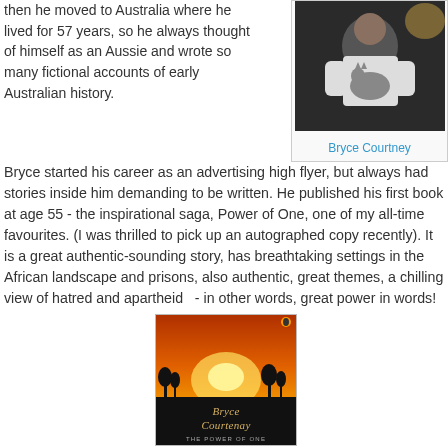then he moved to Australia where he lived for 57 years, so he always thought of himself as an Aussie and wrote so many fictional accounts of early Australian history.
[Figure (photo): Photo of Bryce Courtney sitting and holding a cat, wearing a white t-shirt]
Bryce Courtney
Bryce started his career as an advertising high flyer, but always had stories inside him demanding to be written. He published his first book at age 55 - the inspirational saga, Power of One, one of my all-time favourites. (I was thrilled to pick up an autographed copy recently). It is a great authentic-sounding story, has breathtaking settings in the African landscape and prisons, also authentic, great themes, a chilling view of hatred and apartheid  - in other words, great power in words!
[Figure (photo): Book cover of 'The Power of One' by Bryce Courtenay, showing an African sunset landscape with dark silhouettes at the bottom]